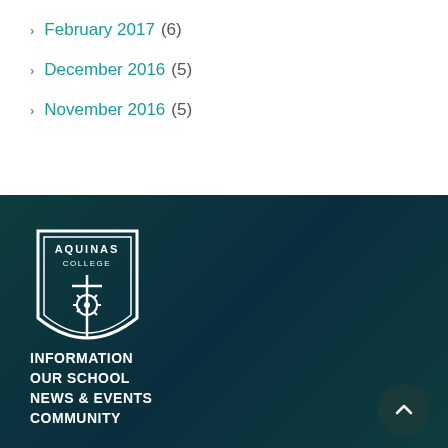February 2017 (6)
December 2016 (5)
November 2016 (5)
[Figure (logo): Aquinas College shield logo in white on dark teal background]
INFORMATION
OUR SCHOOL
NEWS & EVENTS
COMMUNITY